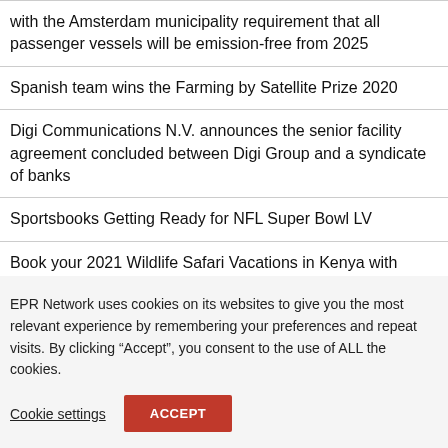with the Amsterdam municipality requirement that all passenger vessels will be emission-free from 2025
Spanish team wins the Farming by Satellite Prize 2020
Digi Communications N.V. announces the senior facility agreement concluded between Digi Group and a syndicate of banks
Sportsbooks Getting Ready for NFL Super Bowl LV
Book your 2021 Wildlife Safari Vacations in Kenya with Cruzeiro Safaris
EPR Network uses cookies on its websites to give you the most relevant experience by remembering your preferences and repeat visits. By clicking “Accept”, you consent to the use of ALL the cookies.
Cookie settings | ACCEPT